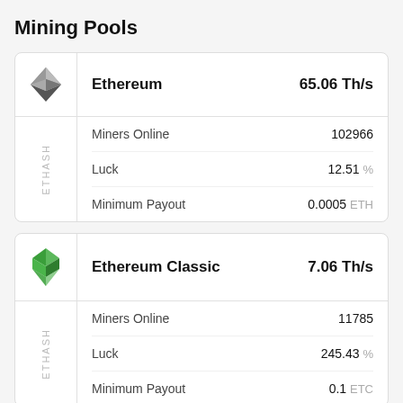Mining Pools
|  | Ethereum | 65.06 Th/s |
| --- | --- | --- |
| ETHASH | Miners Online | 102966 |
| ETHASH | Luck | 12.51 % |
| ETHASH | Minimum Payout | 0.0005 ETH |
|  | Ethereum Classic | 7.06 Th/s |
| --- | --- | --- |
| ETHASH | Miners Online | 11785 |
| ETHASH | Luck | 245.43 % |
| ETHASH | Minimum Payout | 0.1 ETC |